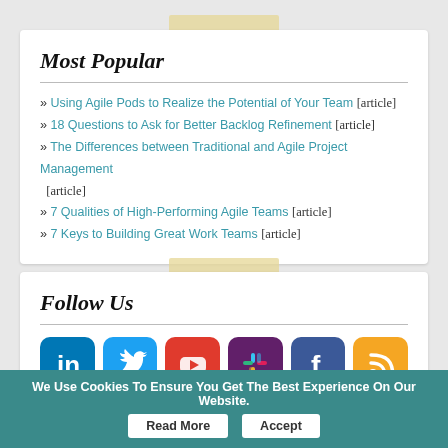Most Popular
» Using Agile Pods to Realize the Potential of Your Team [article]
» 18 Questions to Ask for Better Backlog Refinement [article]
» The Differences between Traditional and Agile Project Management [article]
» 7 Qualities of High-Performing Agile Teams [article]
» 7 Keys to Building Great Work Teams [article]
Follow Us
[Figure (infographic): Social media icons: LinkedIn, Twitter, YouTube, Slack, Facebook, RSS]
About Us   Contact   Advertise With Us   Terms of Use   Privacy Policy   RSS   Contribute   Site Feedback   Sitemap
We Use Cookies To Ensure You Get The Best Experience On Our Website. Read More Accept